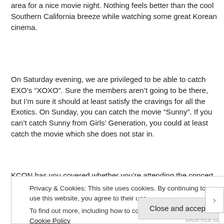area for a nice movie night. Nothing feels better than the cool Southern California breeze while watching some great Korean cinema.
On Saturday evening, we are privileged to be able to catch EXO’s “XOXO”. Sure the members aren’t going to be there, but I’m sure it should at least satisfy the cravings for all the Exotics. On Sunday, you can catch the movie “Sunny”. If you can’t catch Sunny from Girls’ Generation, you could at least catch the movie which she does not star in.
KCON has you covered whether you’re attending the concert or not. The KCON market should be open so enjoy the great outdoor environment, the movies, and
Privacy & Cookies: This site uses cookies. By continuing to use this website, you agree to their use.
To find out more, including how to control cookies, see here: Cookie Policy
Close and accept
KPOP.TICE.AG